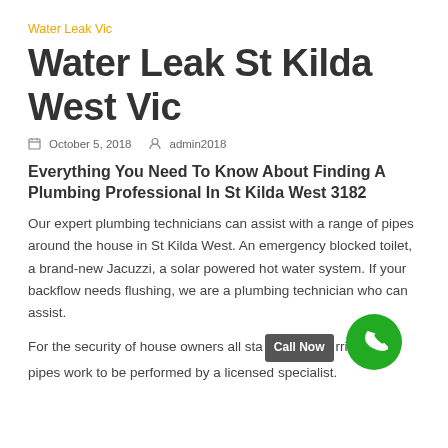Water Leak Vic
Water Leak St Kilda West Vic
October 5, 2018   admin2018
Everything You Need To Know About Finding A Plumbing Professional In St Kilda West 3182
Our expert plumbing technicians can assist with a range of pipes around the house in St Kilda West. An emergency blocked toilet, a brand-new Jacuzzi, a solar powered hot water system. If your backflow needs flushing, we are a plumbing technician who can assist.
For the security of house owners all sta [Call Now] rri require pipes work to be performed by a licensed specialist.